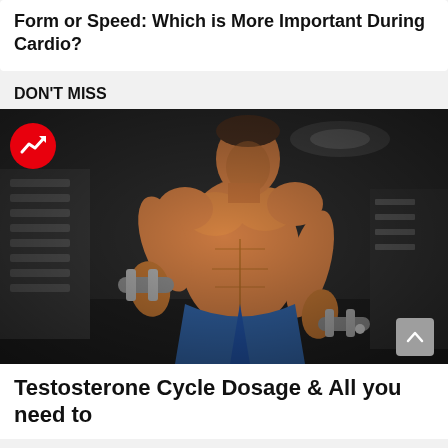Form or Speed: Which is More Important During Cardio?
DON'T MISS
[Figure (photo): Muscular shirtless man in blue shorts curling a dumbbell in a gym, black and white background with color subject]
Testosterone Cycle Dosage & All you need to